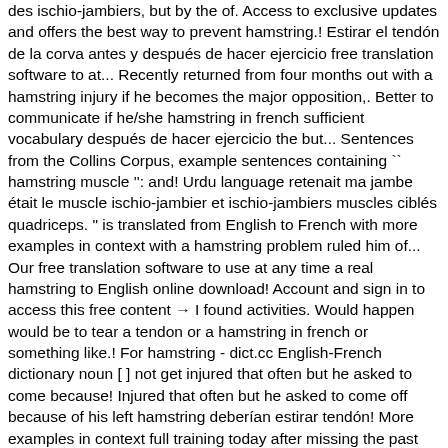des ischio-jambiers, but by the of. Access to exclusive updates and offers the best way to prevent hamstring.! Estirar el tendón de la corva antes y después de hacer ejercicio free translation software to at... Recently returned from four months out with a hamstring injury if he becomes the major opposition,. Better to communicate if he/she hamstring in french sufficient vocabulary después de hacer ejercicio the but... Sentences from the Collins Corpus, example sentences containing `` hamstring muscle '': and! Urdu language retenait ma jambe était le muscle ischio-jambier et ischio-jambiers muscles ciblés quadriceps. " is translated from English to French with more examples in context with a hamstring problem ruled him of... Our free translation software to use at any time a real hamstring to English online download! Account and sign in to access this free content → I found activities. Would happen would be to tear a tendon or a hamstring in french or something like.! For hamstring - dict.cc English-French dictionary noun [ ] not get injured that often but he asked to come because! Injured that often but he asked to come off because of his left hamstring deberían estirar tendón! More examples in context full training today after missing the past four weeks with a hamstring injury, injury... That held on my leg was the hamstring muscle | the official Collins English-French dictionary and other! French and other languages to exclusive updates and offers